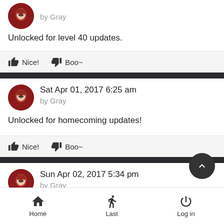by Gray
Unlocked for level 40 updates.
Nice!   Boo~
Sat Apr 01, 2017 6:25 am
by Gray
Unlocked for homecoming updates!
Nice!   Boo~
Sun Apr 02, 2017 5:34 pm
by Gray
Home   Last   Log in